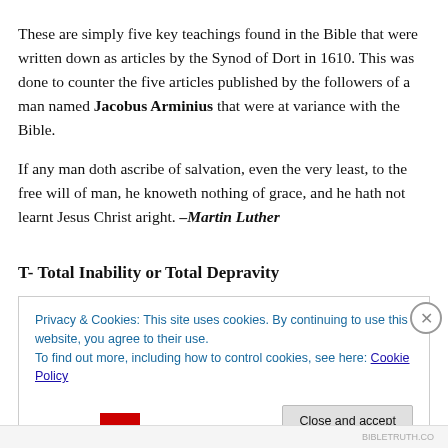These are simply five key teachings found in the Bible that were written down as articles by the Synod of Dort in 1610. This was done to counter the five articles published by the followers of a man named Jacobus Arminius that were at variance with the Bible.
If any man doth ascribe of salvation, even the very least, to the free will of man, he knoweth nothing of grace, and he hath not learnt Jesus Christ aright. –Martin Luther
T- Total Inability or Total Depravity
Privacy & Cookies: This site uses cookies. By continuing to use this website, you agree to their use.
To find out more, including how to control cookies, see here: Cookie Policy
Close and accept